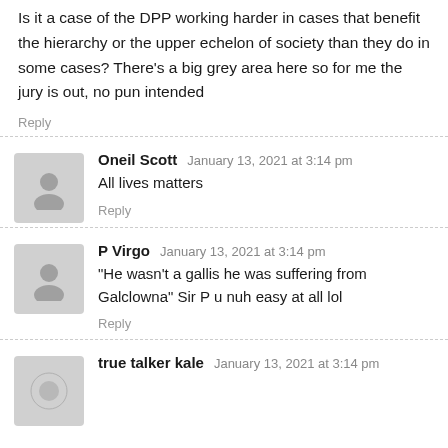Is it a case of the DPP working harder in cases that benefit the hierarchy or the upper echelon of society than they do in some cases? There's a big grey area here so for me the jury is out, no pun intended
Reply
Oneil Scott   January 13, 2021 at 3:14 pm
All lives matters
Reply
P Virgo   January 13, 2021 at 3:14 pm
"He wasn't a gallis he was suffering from Galclowna" Sir P u nuh easy at all lol
Reply
true talker kale   January 13, 2021 at 3:14 pm